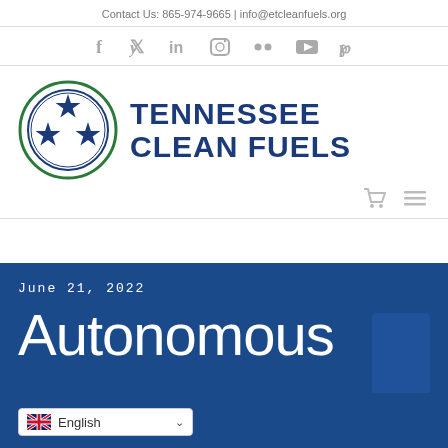Contact Us: 865-974-9665 | info@etcleanfuels.org
[Figure (other): Social media icons row: Facebook, Twitter, LinkedIn, Instagram, Flickr, YouTube, Pinterest]
[Figure (logo): Tennessee Clean Fuels logo with circular emblem containing three blue stars on white background with green and blue ring, beside large bold text 'TENNESSEE CLEAN FUELS' in dark blue]
[Figure (other): Navigation icons: shopping cart and hamburger menu in gray]
June 21, 2022
Autonomous